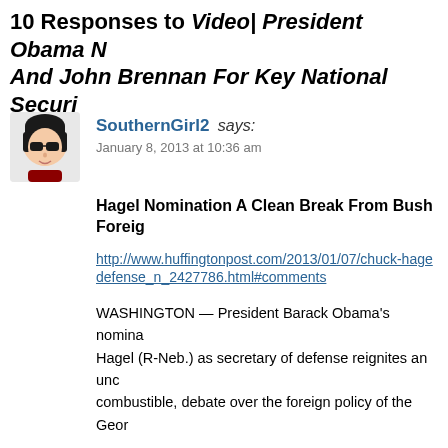10 Responses to Video| President Obama Nominates Chuck Hagel And John Brennan For Key National Security Posts
[Figure (illustration): Avatar image of SouthernGirl2 — cartoon illustration of a woman with black hair and sunglasses]
SouthernGirl2 says: January 8, 2013 at 10:36 am
Hagel Nomination A Clean Break From Bush Foreign Policy
http://www.huffingtonpost.com/2013/01/07/chuck-hagel-secretary-of-defense_n_2427786.html#comments
WASHINGTON — President Barack Obama's nomination of Chuck Hagel (R-Neb.) as secretary of defense reignites an unco… combustible, debate over the foreign policy of the Geor…
The anticipated nomination had been under fire for wee… his positions on Israel and gay rights to fight the appoin… controversy centers on Hagel's outspoken criticism of t… fears that the appointment would represent a clean brea…